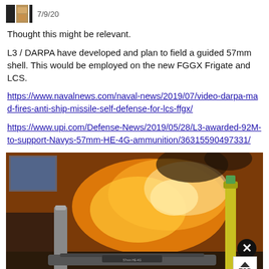7/9/20
Thought this might be relevant.
L3 / DARPA have developed and plan to field a guided 57mm shell. This would be employed on the new FGGX Frigate and LCS.
https://www.navalnews.com/naval-news/2019/07/video-darpa-mad-fires-anti-ship-missile-self-defense-for-lcs-ffgx/
https://www.upi.com/Defense-News/2019/05/28/L3-awarded-92M-to-support-Navys-57mm-HE-4G-ammunition/36315590497331/
[Figure (photo): Photo showing 57mm guided shell models displayed on a stand in front of a screen showing a missile firing/launch with bright orange flame and smoke.]